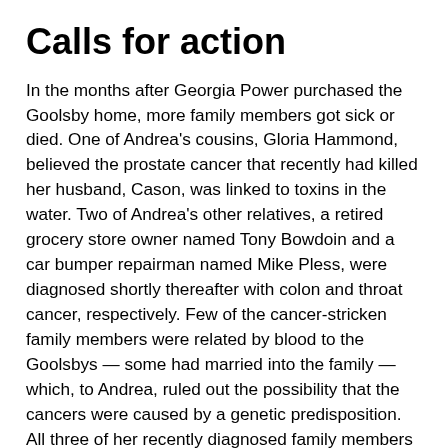Calls for action
In the months after Georgia Power purchased the Goolsby home, more family members got sick or died. One of Andrea's cousins, Gloria Hammond, believed the prostate cancer that recently had killed her husband, Cason, was linked to toxins in the water. Two of Andrea's other relatives, a retired grocery store owner named Tony Bowdoin and a car bumper repairman named Mike Pless, were diagnosed shortly thereafter with colon and throat cancer, respectively. Few of the cancer-stricken family members were related by blood to the Goolsbys — some had married into the family — which, to Andrea, ruled out the possibility that the cancers were caused by a genetic predisposition. All three of her recently diagnosed family members had lived close to Plant Scherer's ash pond. The Altamaha Riverkeeper, now overseen by a former paratrooper named Fletcher Sams, had recently tested all three of their homes' wells.